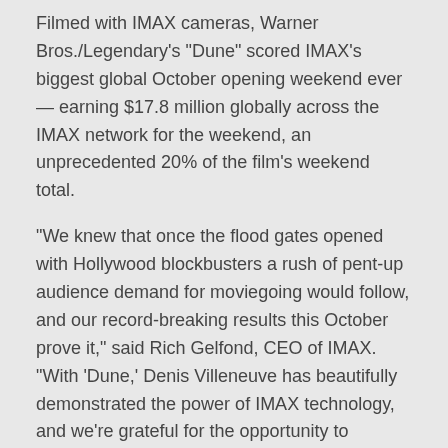Filmed with IMAX cameras, Warner Bros./Legendary's "Dune" scored IMAX's biggest global October opening weekend ever — earning $17.8 million globally across the IMAX network for the weekend, an unprecedented 20% of the film's weekend total.
"We knew that once the flood gates opened with Hollywood blockbusters a rush of pent-up audience demand for moviegoing would follow, and our record-breaking results this October prove it," said Rich Gelfond, CEO of IMAX. "With 'Dune,' Denis Villeneuve has beautifully demonstrated the power of IMAX technology, and we're grateful for the opportunity to support his vision and share this film with the many fans worldwide seeking out the IMAX Experience."
"Dune" debuted on 1,300 IMAX screens in 36 countries and territories. The Company captured